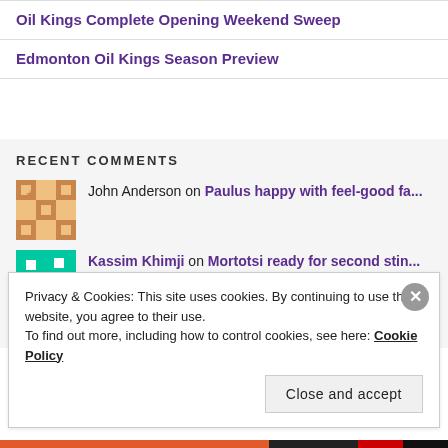Oil Kings Complete Opening Weekend Sweep
Edmonton Oil Kings Season Preview
RECENT COMMENTS
John Anderson on Paulus happy with feel-good fa...
Kassim Khimji on Mortotsi ready for second stin...
Privacy & Cookies: This site uses cookies. By continuing to use this website, you agree to their use. To find out more, including how to control cookies, see here: Cookie Policy
Close and accept